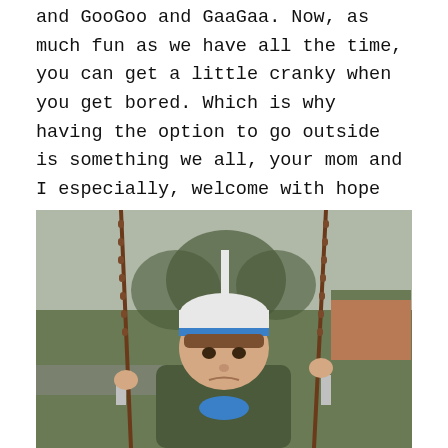and GooGoo and GaaGaa. Now, as much fun as we have all the time, you can get a little cranky when you get bored. Which is why having the option to go outside is something we all, your mom and I especially, welcome with hope and excitement.
[Figure (photo): A toddler with a serious/cranky expression sitting in a playground swing, holding the chains, wearing a white knit cap and green jacket. The background shows a park with green grass, trees, a white pole, and a brick building.]